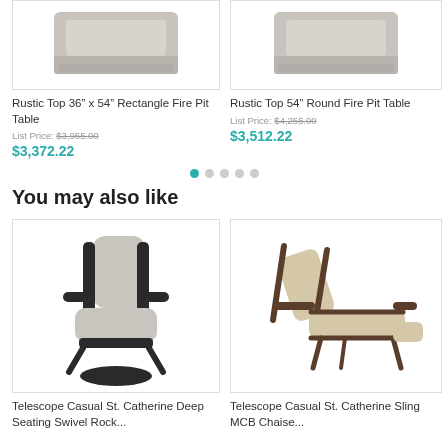[Figure (photo): Rustic Top 36 inch x 54 inch Rectangle Fire Pit Table product image]
Rustic Top 36” x 54” Rectangle Fire Pit Table
List Price: $3,955.00
$3,372.22
[Figure (photo): Rustic Top 54 inch Round Fire Pit Table product image]
Rustic Top 54” Round Fire Pit Table
List Price: $4,255.00
$3,512.22
You may also like
[Figure (photo): Telescope Casual St. Catherine Deep Seating Swivel Rocker chair product image]
Telescope Casual St. Catherine Deep Seating Swivel Rock...
[Figure (photo): Telescope Casual St. Catherine Sling MCB Chaise lounge product image]
Telescope Casual St. Catherine Sling MCB Chaise...